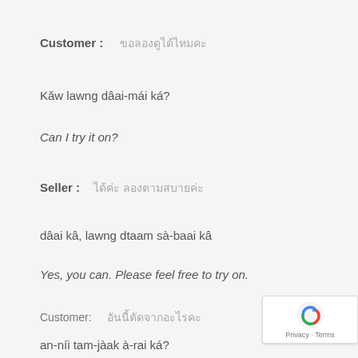Customer : ขอลองดูได้ไหมคะ
Kăw lawng dâai-mái ká?
Can I try it on?
Seller : ได้ค่ะ ลองตามสบายค่ะ
dâai kâ, lawng dtaam sà-baai kâ
Yes, you can. Please feel free to try on.
Customer: อันนี้ตัดจากอะไรคะ
an-níi tam-jàak à-rai ká?
[Figure (logo): reCAPTCHA privacy badge with blue arrow logo and Privacy · Terms text]